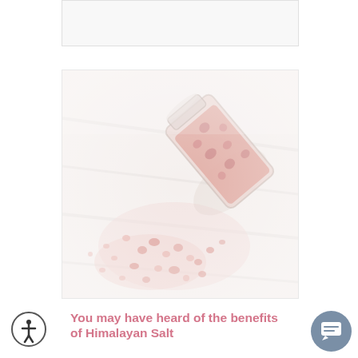[Figure (other): Empty placeholder box at top of page, likely an advertisement or image placeholder]
[Figure (photo): A glass jar tipped over on a white wooden surface with pink Himalayan salt crystals spilling out]
You may have heard of the benefits of Himalayan Salt